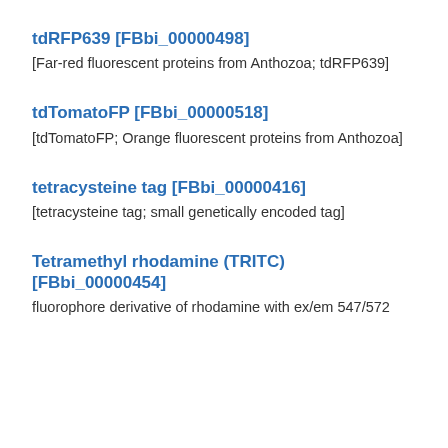tdRFP639 [FBbi_00000498]
[Far-red fluorescent proteins from Anthozoa; tdRFP639]
tdTomatoFP [FBbi_00000518]
[tdTomatoFP; Orange fluorescent proteins from Anthozoa]
tetracysteine tag [FBbi_00000416]
[tetracysteine tag; small genetically encoded tag]
Tetramethyl rhodamine (TRITC) [FBbi_00000454]
fluorophore derivative of rhodamine with ex/em 547/572